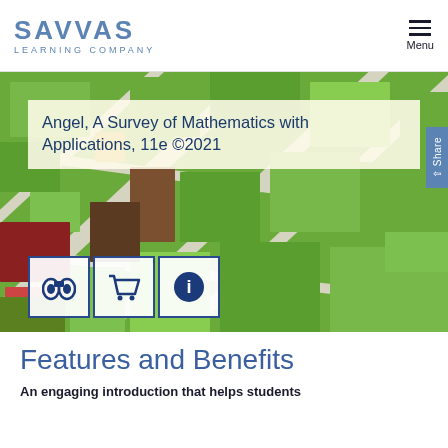SAVVAS LEARNING COMPANY | Menu
Angel, A Survey of Mathematics with Applications, 11e ©2021
[Figure (screenshot): Hero banner showing an aerial map illustration with green city blocks and streets, overlaid with a semi-transparent title box and three action buttons (binoculars, shopping cart, info). A Share tab appears on the right edge.]
Features and Benefits
An engaging introduction that helps students